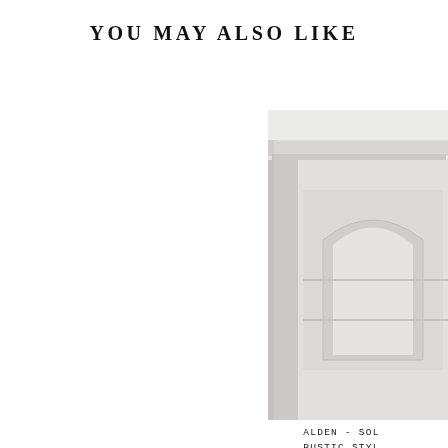YOU MAY ALSO LIKE
[Figure (photo): Partial view of an Alden solid wood rustic style bookcase, white/grey finish, showing top cornice and upper shelving detail, cropped on right side of page.]
ALDEN - SOL... RUSTIC STYL... BOOK CASE...